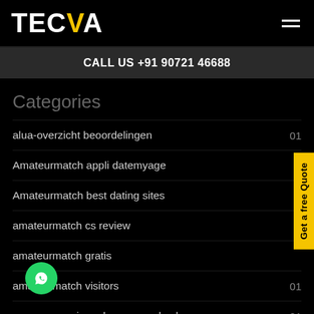TECVA
CALL US +91 90721 46688
Categories
alua-overzicht beoordelingen    01
Amateurmatch appli datemyage
Amateurmatch best dating sites
amateurmatch cs review
amateurmatch gratis
amateurmatch visitors    01
america advance payday loans    01
america title loans    01
Get a free Quote